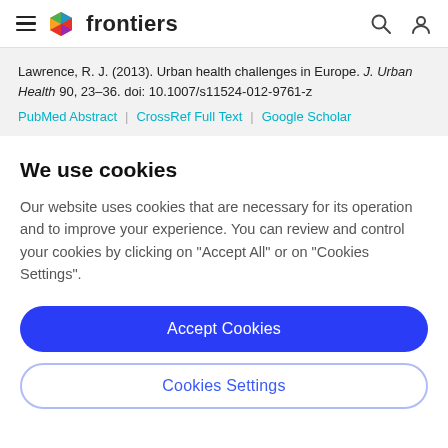frontiers
Lawrence, R. J. (2013). Urban health challenges in Europe. J. Urban Health 90, 23–36. doi: 10.1007/s11524-012-9761-z
PubMed Abstract | CrossRef Full Text | Google Scholar
We use cookies
Our website uses cookies that are necessary for its operation and to improve your experience. You can review and control your cookies by clicking on "Accept All" or on "Cookies Settings".
Accept Cookies
Cookies Settings